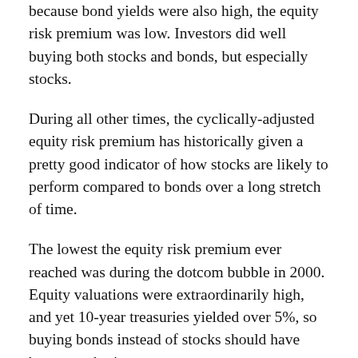because bond yields were also high, the equity risk premium was low. Investors did well buying both stocks and bonds, but especially stocks.
During all other times, the cyclically-adjusted equity risk premium has historically given a pretty good indicator of how stocks are likely to perform compared to bonds over a long stretch of time.
The lowest the equity risk premium ever reached was during the dotcom bubble in 2000. Equity valuations were extraordinarily high, and yet 10-year treasuries yielded over 5%, so buying bonds instead of stocks should have been a no-brainer.
That is not the case today, and is what makes